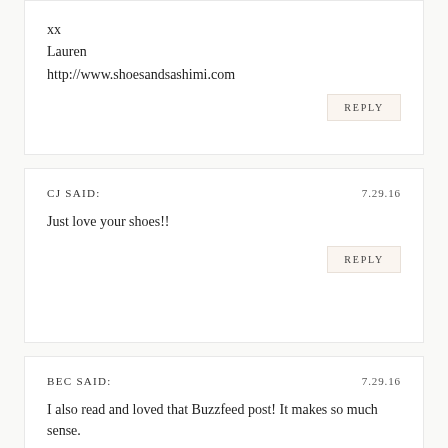xx
Lauren
http://www.shoesandsashimi.com
REPLY
CJ SAID:	7.29.16
Just love your shoes!!
REPLY
BEC SAID:	7.29.16
I also read and loved that Buzzfeed post! It makes so much sense.
REPLY